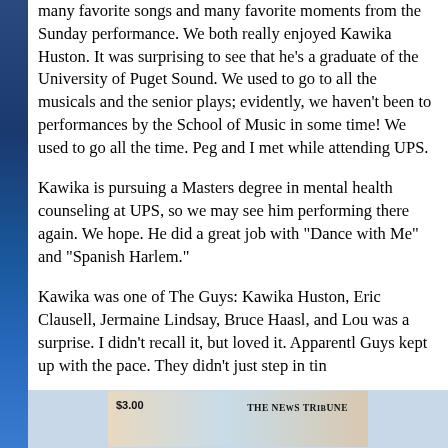many favorite songs and many favorite moments from the Sunday performance. We both really enjoyed Kawika Huston. It was surprising to see that he's a graduate of the University of Puget Sound. We used to go to all the musicals and the senior plays; evidently, we haven't been to performances by the School of Music in some time! We used to go all the time. Peg and I met while attending UPS.
Kawika is pursuing a Masters degree in mental health counseling at UPS, so we may see him performing there again. We hope. He did a great job with "Dance with Me" and "Spanish Harlem."
Kawika was one of The Guys: Kawika Huston, Eric Clausell, Jermaine Lindsay, Bruce Haasl, and Lou was a surprise. I didn't recall it, but loved it. Apparently Guys kept up with the pace. They didn't just step in tim
[Figure (photo): Partial photo strip at bottom showing what appears to be a newspaper or program with price $3.00 and text 'THE NEWS TRIBUNE' visible]